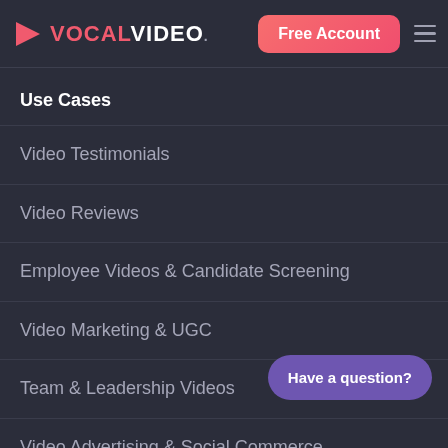VOCAL VIDEO — Free Account
Use Cases
Video Testimonials
Video Reviews
Employee Videos & Candidate Screening
Video Marketing & UGC
Team & Leadership Videos
Video Advertising & Social Commerce
Sales Enablement Videos
Event Videos & Promotion
Have a question?